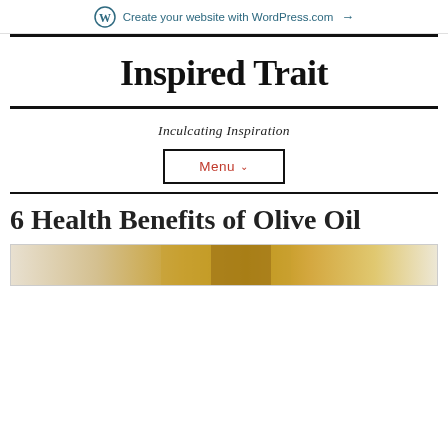Create your website with WordPress.com →
Inspired Trait
Inculcating Inspiration
Menu
6 Health Benefits of Olive Oil
[Figure (photo): Partial view of olive oil image at bottom of page]